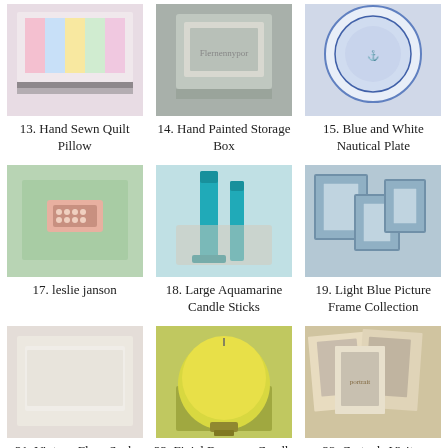[Figure (photo): Hand sewn quilt pillow with colorful fabric]
13. Hand Sewn Quilt Pillow
[Figure (photo): Hand painted storage box on wooden surface]
14. Hand Painted Storage Box
[Figure (photo): Blue and white nautical decorative plate]
15. Blue and White Nautical Plate
[Figure (photo): Pink rhinestone cuff bracelet on teal wooden surface]
17. leslie janson
[Figure (photo): Large aquamarine teal candle sticks]
18. Large Aquamarine Candle Sticks
[Figure (photo): Light blue picture frame collection]
19. Light Blue Picture Frame Collection
[Figure (photo): Vintage flour sack pillow in white/cream]
21. Vintage Flour Sack Pillow
[Figure (photo): Yellow finial beeswax candle ball on pedestal]
22. Finial Beeswax Candle
[Figure (photo): Carte de Visites vintage portrait photographs]
23. Carte de Visites